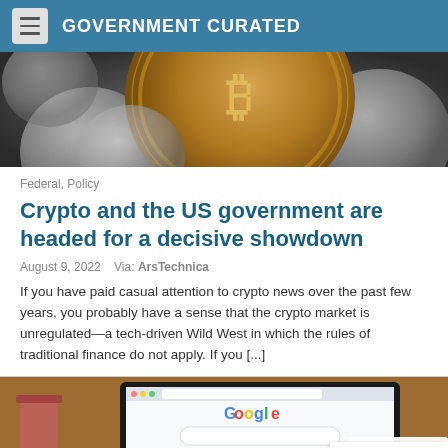GOVERNMENT CURATED
[Figure (photo): Close-up photo of gold and silver cryptocurrency coins, with a prominent Bitcoin coin in the center.]
Federal, Policy
Crypto and the US government are headed for a decisive showdown
August 9, 2022   Via: ArsTechnica
If you have paid casual attention to crypto news over the past few years, you probably have a sense that the crypto market is unregulated—a tech-driven Wild West in which the rules of traditional finance do not apply. If you [...]
[Figure (photo): Photo of a laptop on a desk showing the Google homepage, with a cup and other items visible in the background.]